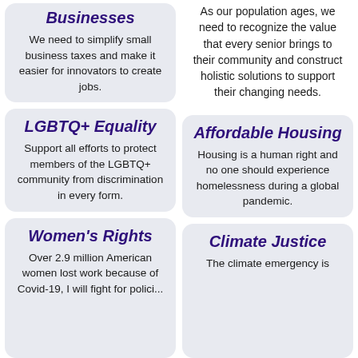Businesses
We need to simplify small business taxes and make it easier for innovators to create jobs.
As our population ages, we need to recognize the value that every senior brings to their community and construct holistic solutions to support their changing needs.
LGBTQ+ Equality
Support all efforts to protect members of the LGBTQ+ community from discrimination in every form.
Affordable Housing
Housing is a human right and no one should experience homelessness during a global pandemic.
Women's Rights
Over 2.9 million American women lost work because of Covid-19. I will fight for policies...
Climate Justice
The climate emergency is...